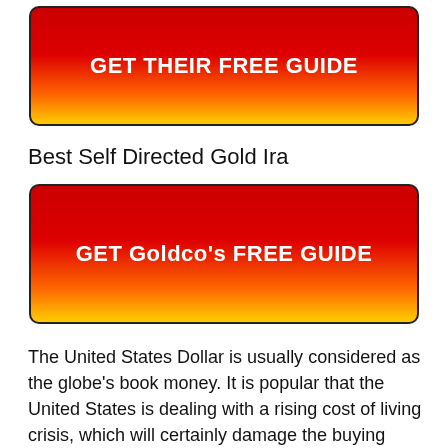[Figure (other): Red to yellow gradient button with white bold text reading GET THEIR FREE GUIDE]
Best Self Directed Gold Ira
[Figure (other): Red to yellow gradient button with white bold text reading GET Goldco's FREE GUIDE]
The United States Dollar is usually considered as the globe’s book money. It is popular that the United States is dealing with a rising cost of living crisis, which will certainly damage the buying power of the United States Buck. As the power of the reserve money reduces, individuals not